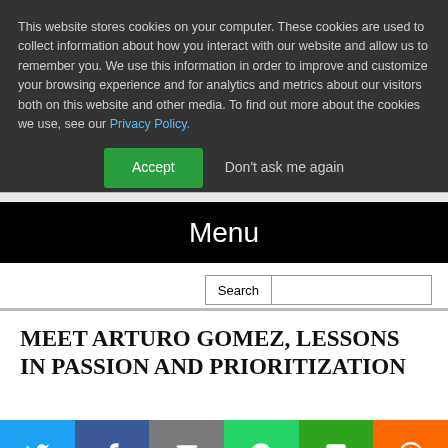This website stores cookies on your computer. These cookies are used to collect information about how you interact with our website and allow us to remember you. We use this information in order to improve and customize your browsing experience and for analytics and metrics about our visitors both on this website and other media. To find out more about the cookies we use, see our Privacy Policy.
Accept | Don't ask me again
Menu
Search
MEET ARTURO GOMEZ, LESSONS IN PASSION AND PRIORITIZATION
[Figure (other): Social sharing buttons row: Twitter (blue), Facebook (dark blue), Email (gray), WhatsApp (green), SMS (green), More (orange)]